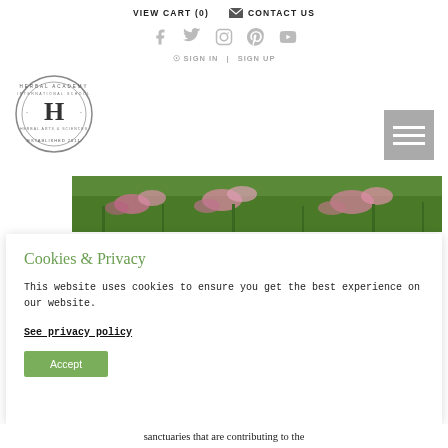VIEW CART (0)    CONTACT US
[Figure (illustration): Social media icons row: Facebook, Twitter, Instagram, Pinterest, YouTube — all in light gray]
SIGN IN  |  SIGN UP
[Figure (logo): Herbal Academy International School circular stamp logo with letter H in center, 'ESTABLISHED 2011' text around border]
[Figure (other): Hamburger menu icon (three horizontal lines) on gray square background]
[Figure (photo): Banner photo of pink wildflowers and green herbs/plants]
Cookies & Privacy
This website uses cookies to ensure you get the best experience on our website.
See privacy policy
Accept
sanctuaries that are contributing to the